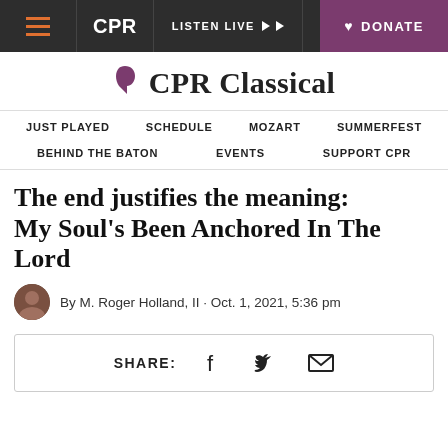CPR | LISTEN LIVE | DONATE
CPR Classical
JUST PLAYED
SCHEDULE
MOZART
SUMMERFEST
BEHIND THE BATON
EVENTS
SUPPORT CPR
The end justifies the meaning: My Soul's Been Anchored In The Lord
By M. Roger Holland, II · Oct. 1, 2021, 5:36 pm
SHARE: